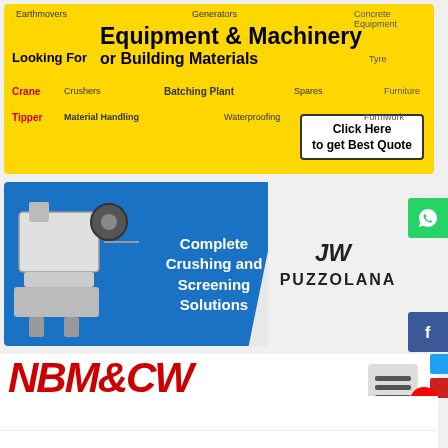[Figure (infographic): Yellow banner advertisement for Equipment & Machinery or Building Materials with keyword tags (Earthmovers, Generators, Cranes, Crushers, Batching Plant, Tyre, Spares, Scaffolding, Precast, Material Handling, Waterproofing, Formwork, Tipper, Furniture) and Click Here to get Best Quote button]
[Figure (infographic): Blue banner advertisement for Puzzolana Complete Crushing and Screening Solutions with crusher machine images]
[Figure (logo): NBM&CW Infra Construction & Equipment Magazine logo in red italic with hamburger menu icon]
Everest Engineering: Moving to Heavy Machines
Keen to help construct India's high-speed railway projects, metro rails, flyovers, bridges, etc, Everest Engineering Equipment has decided to foray into the Heavy Machinery segment, informs PV Ramdev